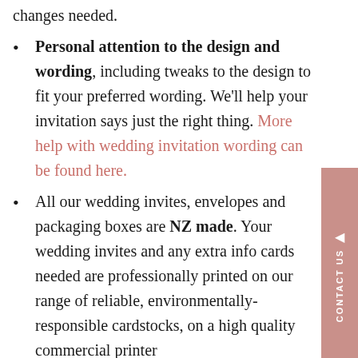changes needed.
Personal attention to the design and wording, including tweaks to the design to fit your preferred wording. We'll help your invitation says just the right thing. More help with wedding invitation wording can be found here.
All our wedding invites, envelopes and packaging boxes are NZ made. Your wedding invites and any extra info cards needed are professionally printed on our range of reliable, environmentally-responsible cardstocks, on a high quality commercial printer
A minimum of 20 wedding invitations required